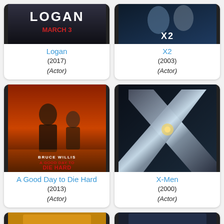[Figure (photo): Movie poster for Logan (2017) showing the title LOGAN and text MARCH 3]
Logan
(2017)
(Actor)
[Figure (photo): Movie poster for X2 (2003) showing two characters]
X2
(2003)
(Actor)
[Figure (photo): Movie poster for A Good Day to Die Hard (2013) showing Bruce Willis and text BRUCE WILLIS A GOOD DAY TO DIE HARD FEBRUARY 14]
A Good Day to Die Hard
(2013)
(Actor)
[Figure (photo): Movie poster for X-Men (2000) showing the large metallic X logo]
X-Men
(2000)
(Actor)
[Figure (photo): Partial movie poster at bottom left, cut off]
[Figure (photo): Partial movie poster at bottom right, cut off]